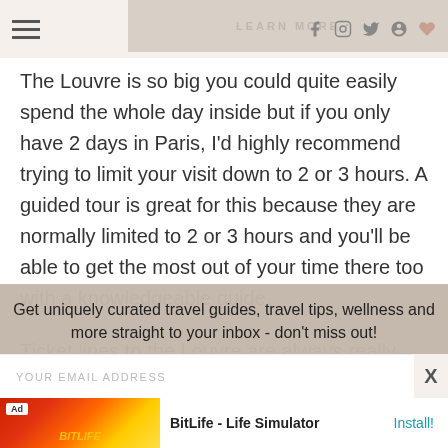Navigation bar with hamburger menu and social icons (f, Instagram, Twitter, Pinterest, heart)
The Louvre is so big you could quite easily spend the whole day inside but if you only have 2 days in Paris, I'd highly recommend trying to limit your visit down to 2 or 3 hours. A guided tour is great for this because they are normally limited to 2 or 3 hours and you'll be able to get the most out of your time there too with a knowledgeable guide.
Ticket lines to the Louvre are always really
Get uniquely curated travel guides, travel tips, wellness and more straight to your inbox - don't miss out!
YOUR EMAIL ADDRESS
[Figure (screenshot): BitLife - Life Simulator mobile app advertisement at bottom of page]